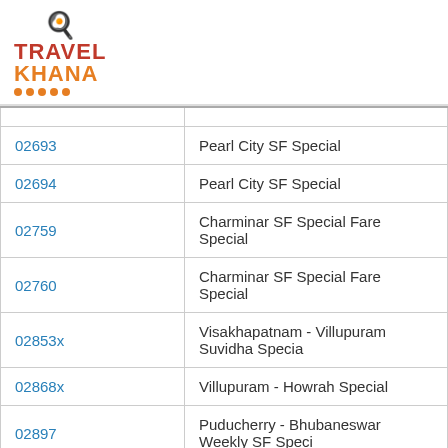[Figure (logo): TravelKhana logo with chef hat icon and orange/red text]
| 02693 | Pearl City SF Special |
| 02694 | Pearl City SF Special |
| 02759 | Charminar SF Special Fare Special |
| 02760 | Charminar SF Special Fare Special |
| 02853x | Visakhapatnam - Villupuram Suvidha Special |
| 02868x | Villupuram - Howrah Special |
| 02897 | Puducherry - Bhubaneswar Weekly SF Special |
| 02898 | Bhubaneswar - Puducherry Weekly SF Special |
| 04071 | Puducherry - New Delhi Weekly SF Special |
| 04072 | New Delhi - Puducherry Weekly SF Special |